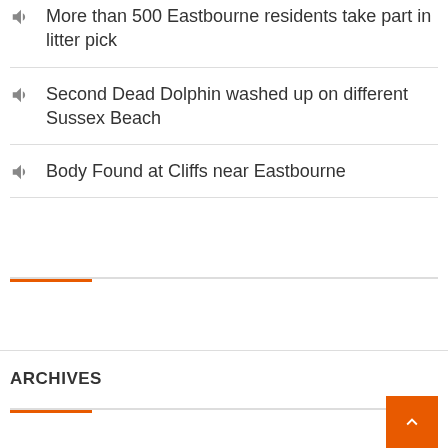More than 500 Eastbourne residents take part in litter pick
Second Dead Dolphin washed up on different Sussex Beach
Body Found at Cliffs near Eastbourne
ARCHIVES